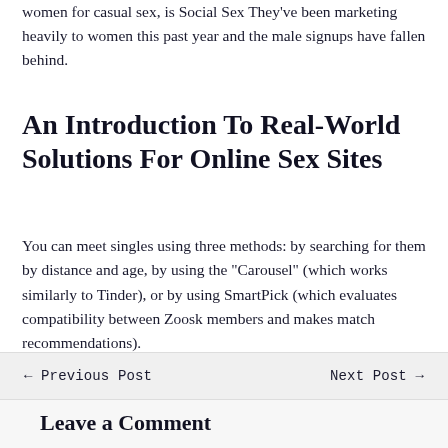women for casual sex, is Social Sex They've been marketing heavily to women this past year and the male signups have fallen behind.
An Introduction To Real-World Solutions For Online Sex Sites
You can meet singles using three methods: by searching for them by distance and age, by using the "Carousel" (which works similarly to Tinder), or by using SmartPick (which evaluates compatibility between Zoosk members and makes match recommendations).
← Previous Post    Next Post →
Leave a Comment